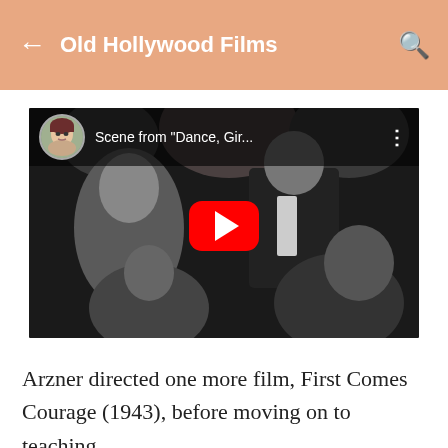Old Hollywood Films
[Figure (screenshot): YouTube video thumbnail showing a black-and-white film scene with multiple people in formal attire. The video title reads 'Scene from "Dance, Gir...' with a channel avatar and YouTube play button overlay.]
Arzner directed one more film, First Comes Courage (1943), before moving on to teaching